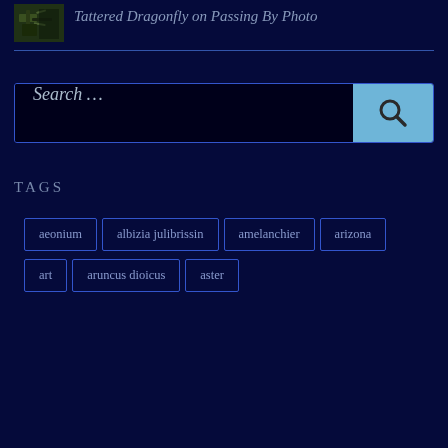[Figure (photo): Small thumbnail image of a dragonfly on a plant, dark green/brown tones]
Tattered Dragonfly on Passing By Photo
Search ...
TAGS
aeonium
albizia julibrissin
amelanchier
arizona
art
aruncus dioicus
aster